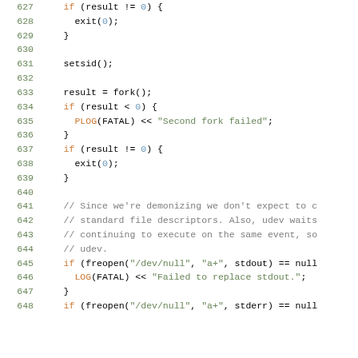[Figure (screenshot): Source code listing in C++ with syntax highlighting, showing lines 627-648. Line numbers in green on the left, code with colored keywords, strings, and comments.]